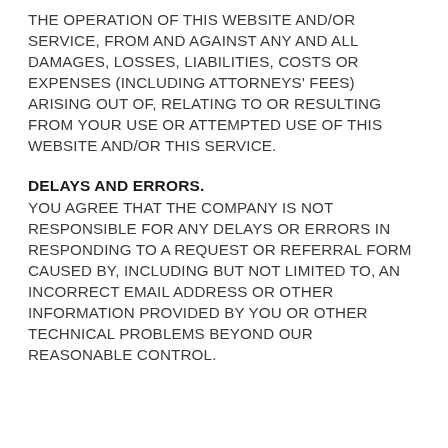THE OPERATION OF THIS WEBSITE AND/OR SERVICE, FROM AND AGAINST ANY AND ALL DAMAGES, LOSSES, LIABILITIES, COSTS OR EXPENSES (INCLUDING ATTORNEYS' FEES) ARISING OUT OF, RELATING TO OR RESULTING FROM YOUR USE OR ATTEMPTED USE OF THIS WEBSITE AND/OR THIS SERVICE.
DELAYS AND ERRORS.
YOU AGREE THAT THE COMPANY IS NOT RESPONSIBLE FOR ANY DELAYS OR ERRORS IN RESPONDING TO A REQUEST OR REFERRAL FORM CAUSED BY, INCLUDING BUT NOT LIMITED TO, AN INCORRECT EMAIL ADDRESS OR OTHER INFORMATION PROVIDED BY YOU OR OTHER TECHNICAL PROBLEMS BEYOND OUR REASONABLE CONTROL.